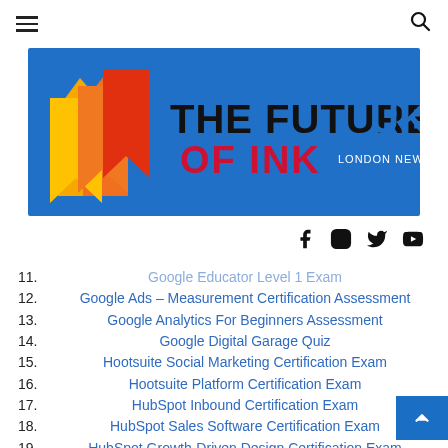[Figure (logo): The Future of Ink UK – London News logo on blue background with geometric origami-style graphic in orange, red, and gold]
11. Google Educator Level 1 Exam
12. Google Ads – Measurement Certification Assessment
13. Google Analytics For Beginners Assessment
14. Google Digital Garage Quiz
15. Hootsuite Social Marketing Certification Exam
16. Hootsuite Platform Certification Exam
17. HubSpot Inbound Certification Exam
18. HubSpot Sales Software Certification Exam
19. HubSpot Growth-Driven Design Certification Exam
20. HubSpot Frictionless Sales Certification
21. HubSpot Sales Enablement Certification Exam